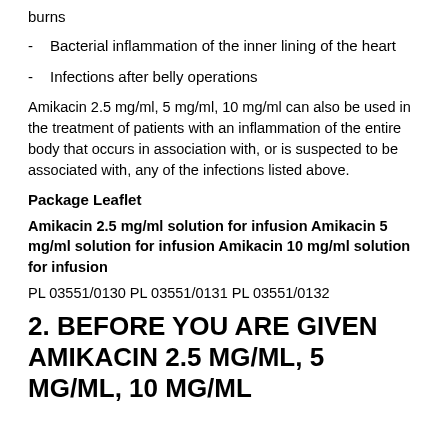burns
Bacterial inflammation of the inner lining of the heart
Infections after belly operations
Amikacin 2.5 mg/ml, 5 mg/ml, 10 mg/ml can also be used in the treatment of patients with an inflammation of the entire body that occurs in association with, or is suspected to be associated with, any of the infections listed above.
Package Leaflet
Amikacin 2.5 mg/ml solution for infusion Amikacin 5 mg/ml solution for infusion Amikacin 10 mg/ml solution for infusion
PL 03551/0130 PL 03551/0131 PL 03551/0132
2. BEFORE YOU ARE GIVEN AMIKACIN 2.5 MG/ML, 5 MG/ML, 10 MG/ML